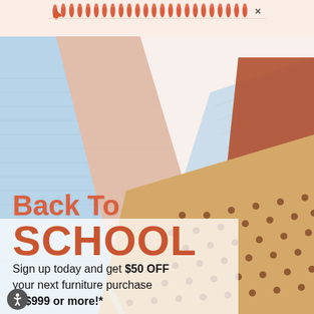[Figure (illustration): Notebook spiral binding top bar with orange/red coil teeth on a light pink/peach background, with an X close button on the right]
[Figure (photo): Back to school promotional image showing overlapping notebooks/folders in light blue, peach, and tan with polka-dot pattern, arranged diagonally on a white background]
Back To SCHOOL
Sign up today and get $50 OFF your next furniture purchase of $999 or more!*